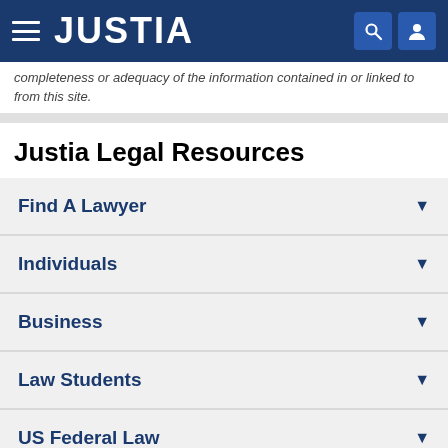JUSTIA
completeness or adequacy of the information contained in or linked to from this site.
Justia Legal Resources
Find A Lawyer
Individuals
Business
Law Students
US Federal Law
US State Law